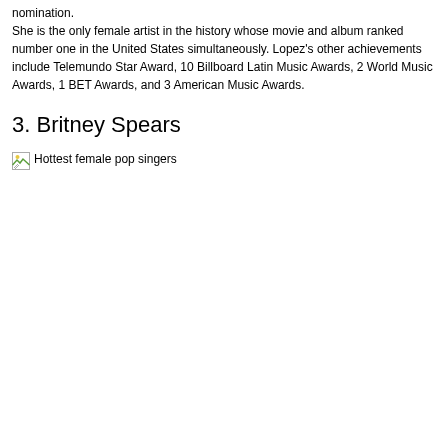nomination. She is the only female artist in the history whose movie and album ranked number one in the United States simultaneously. Lopez's other achievements include Telemundo Star Award, 10 Billboard Latin Music Awards, 2 World Music Awards, 1 BET Awards, and 3 American Music Awards.
3. Britney Spears
[Figure (photo): Broken image placeholder with alt text 'Hottest female pop singers']